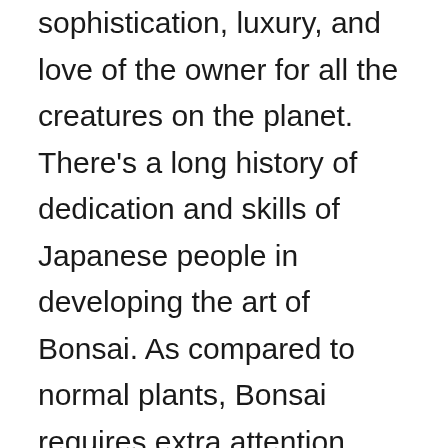sophistication, luxury, and love of the owner for all the creatures on the planet. There's a long history of dedication and skills of Japanese people in developing the art of Bonsai. As compared to normal plants, Bonsai requires extra attention, care, and maintenance to look awesome continuously.
Experts have developed various courses on bonsai tree formation and maintenance. However, the most important aspects and consistent care practices are quite similar for all types of Bonsai...